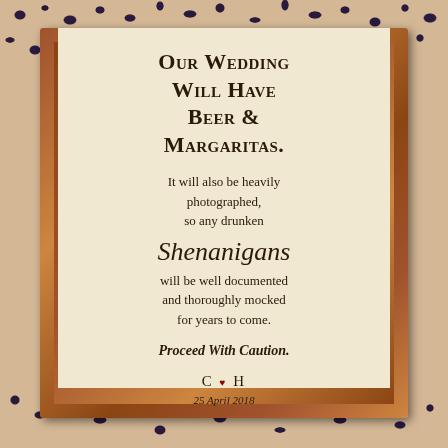[Figure (photo): A framed wedding sign on a leopard-print background. The wooden frame contains a cream/beige paper with text about the wedding having beer and margaritas, a warning about shenanigans being documented, and initials C and H with date 25 April 2018.]
Our Wedding Will Have Beer & Margaritas.
It will also be heavily photographed, so any drunken Shenanigans will be well documented and thoroughly mocked for years to come.
Proceed With Caution.
C ♥ H
25 April 2018